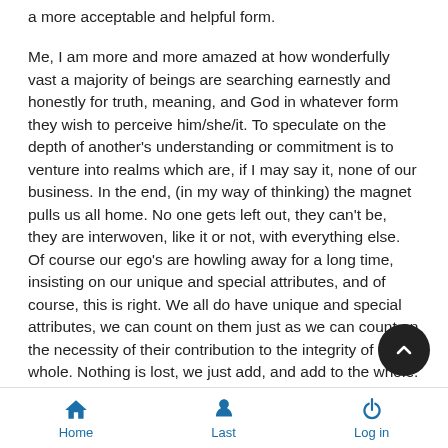a more acceptable and helpful form.
Me, I am more and more amazed at how wonderfully vast a majority of beings are searching earnestly and honestly for truth, meaning, and God in whatever form they wish to perceive him/she/it. To speculate on the depth of another's understanding or commitment is to venture into realms which are, if I may say it, none of our business. In the end, (in my way of thinking) the magnet pulls us all home. No one gets left out, they can't be, they are interwoven, like it or not, with everything else. Of course our ego's are howling away for a long time, insisting on our unique and special attributes, and of course, this is right. We all do have unique and special attributes, we can count on them just as we can count on the necessity of their contribution to the integrity of the whole. Nothing is lost, we just add, and add to the whole. So now, I have done my bit of proselytizing. And if I've completely missed your point, Ann please do set me straight.
Home  Last  Log in